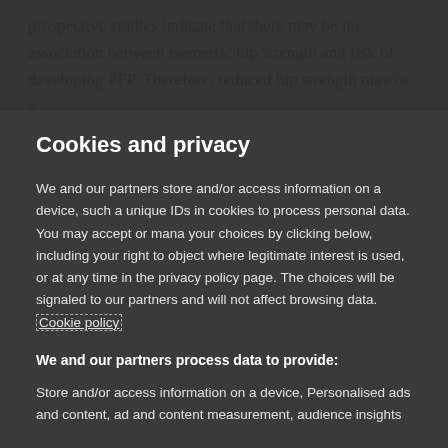prospective studies indicate that there may be no association between isometric hip strength and risk of developing PFP. Therefore, reduced hip strength may be a
Cookies and privacy
We and our partners store and/or access information on a device, such as unique IDs in cookies to process personal data. You may accept or manage your choices by clicking below, including your right to object where legitimate interest is used, or at any time in the privacy policy page. These choices will be signaled to our partners and will not affect browsing data. Cookie policy
We and our partners process data to provide:
Store and/or access information on a device, Personalised ads and content, ad and content measurement, audience insights and product development, Use precise geolocation data, Actively scan device characteristics for identification
List of Partners (vendors)